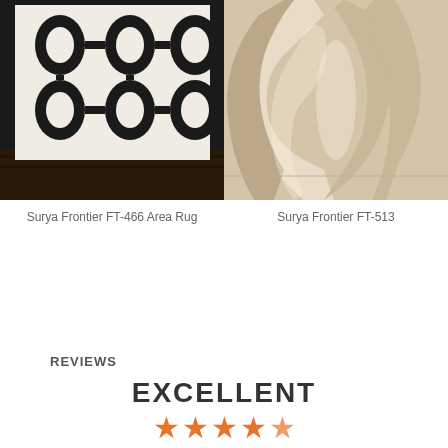[Figure (photo): Black and white geometric patterned area rug - Surya Frontier FT-466]
Surya Frontier FT-466 Area Rug
[Figure (photo): Beige/tan ikat patterned area rug - Surya Frontier FT-513]
Surya Frontier FT-513
REVIEWS
EXCELLENT
4.72 Average 2865 Reviews